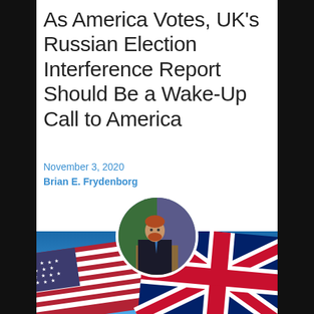As America Votes, UK's Russian Election Interference Report Should Be a Wake-Up Call to America
November 3, 2020
Brian E. Frydenborg
[Figure (photo): Circular author headshot of Brian E. Frydenborg speaking at a podium with a microphone, wearing a dark suit and blue tie, with flags in the background]
[Figure (photo): American flag and UK Union Jack flag side by side against a blue sky background]